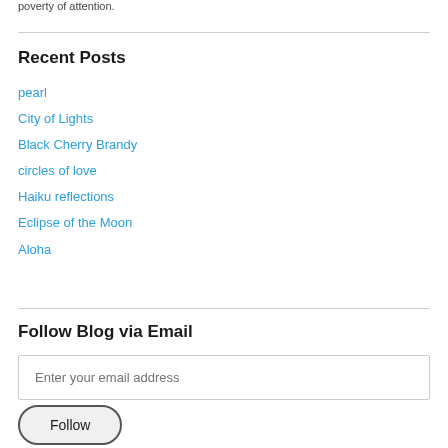poverty of attention.
Recent Posts
pearl
City of Lights
Black Cherry Brandy
circles of love
Haiku reflections
Eclipse of the Moon
Aloha
Follow Blog via Email
Enter your email address
Follow